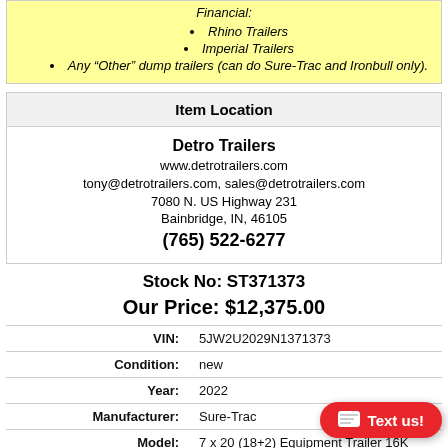Financial:
Rhino Trailers
Imperial Trailers
Any "Other" dump trailers (can do Sure-Trac and Ironbull only).
Item Location
Detro Trailers
www.detrotrailers.com
tony@detrotrailers.com, sales@detrotrailers.com
7080 N. US Highway 231
Bainbridge, IN, 46105
(765) 522-6277
Stock No: ST371373
Our Price: $12,375.00
| Field | Value |
| --- | --- |
| VIN: | 5JW2U2029N1371373 |
| Condition: | new |
| Year: | 2022 |
| Manufacturer: | Sure-Trac |
| Model: | 7 x 20 (18+2) Equipment Trailer 16K |